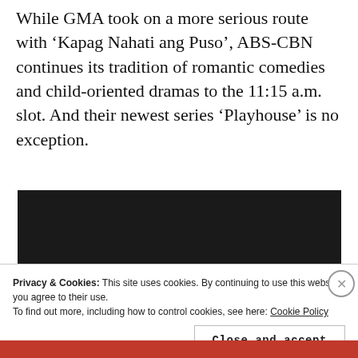While GMA took on a more serious route with ‘Kapag Nahati ang Puso’, ABS-CBN continues its tradition of romantic comedies and child-oriented dramas to the 11:15 a.m. slot. And their newest series ‘Playhouse’ is no exception.
[Figure (photo): Dark/black video player embed area]
Privacy & Cookies: This site uses cookies. By continuing to use this website, you agree to their use.
To find out more, including how to control cookies, see here: Cookie Policy